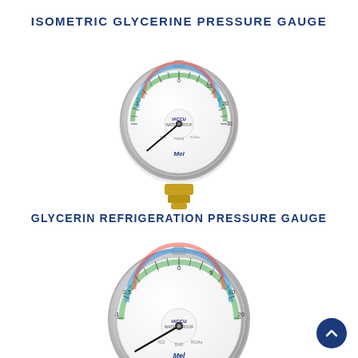ISOMETRIC GLYCERINE PRESSURE GAUGE
[Figure (photo): Isometric glycerine pressure gauge with circular dial face showing refrigerant scales in multiple colors (red, blue, green), black needle pointer, stainless steel casing, and brass bottom-mount threaded fitting]
GLYCERIN REFRIGERATION PRESSURE GAUGE
[Figure (photo): Glycerin refrigeration pressure gauge with circular dial showing multiple refrigerant pressure scales in red, blue, and green, stainless steel casing, partially visible from top/front angle, partially cropped at bottom]